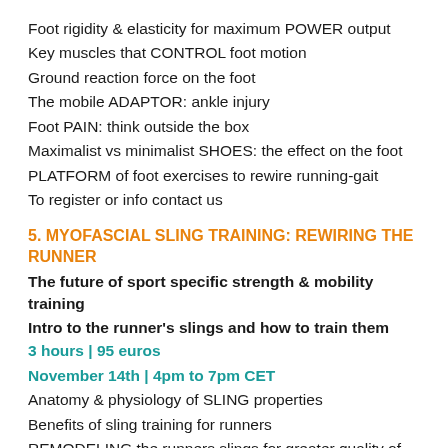Foot rigidity & elasticity for maximum POWER output
Key muscles that CONTROL foot motion
Ground reaction force on the foot
The mobile ADAPTOR: ankle injury
Foot PAIN: think outside the box
Maximalist vs minimalist SHOES: the effect on the foot
PLATFORM of foot exercises to rewire running-gait
To register or info contact us
5. MYOFASCIAL SLING TRAINING: REWIRING THE RUNNER
The future of sport specific strength & mobility training
Intro to the runner's slings and how to train them
3 hours | 95 euros
November 14th | 4pm to 7pm CET
Anatomy & physiology of SLING properties
Benefits of sling training for runners
REMODELING the runners slings for greater quality of